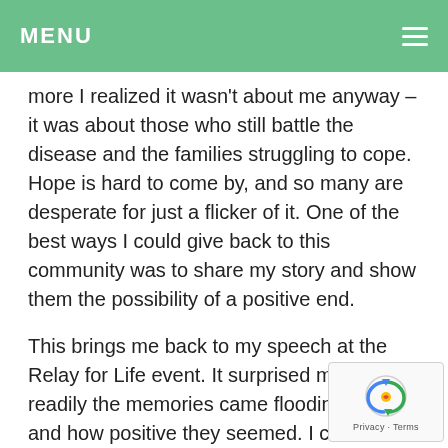MENU
more I realized it wasn't about me anyway – it was about those who still battle the disease and the families struggling to cope. Hope is hard to come by, and so many are desperate for just a flicker of it. One of the best ways I could give back to this community was to share my story and show them the possibility of a positive end.
This brings me back to my speech at the Relay for Life event. It surprised me how readily the memories came flooding back, and how positive they seemed. I could hardly express how thankful I was to everyone who helped me through those